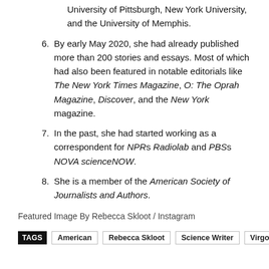University of Pittsburgh, New York University, and the University of Memphis.
6. By early May 2020, she had already published more than 200 stories and essays. Most of which had also been featured in notable editorials like The New York Times Magazine, O: The Oprah Magazine, Discover, and the New York magazine.
7. In the past, she had started working as a correspondent for NPR's Radiolab and PBS's NOVA scienceNOW.
8. She is a member of the American Society of Journalists and Authors.
Featured Image By Rebecca Skloot / Instagram
TAGS  American  Rebecca Skloot  Science Writer  Virgo